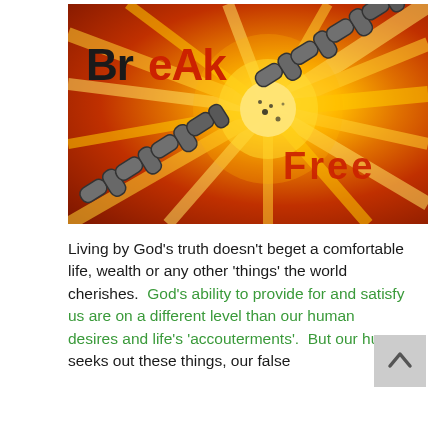[Figure (illustration): A dramatic image showing a metal chain breaking apart against a glowing orange-yellow radial burst background. The word 'BREAK' appears in the upper left in dark and red letters, and 'FREE' appears in the lower right in red distressed letters. The chain is breaking at the center where the light burst is brightest.]
Living by God's truth doesn't beget a comfortable life, wealth or any other 'things' the world cherishes.  God's ability to provide for and satisfy us are on a different level than our human desires and life's 'accouterments'.  But our huma seeks out these things, our false